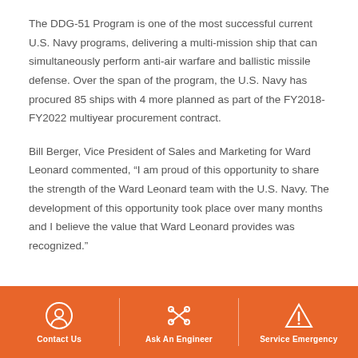The DDG-51 Program is one of the most successful current U.S. Navy programs, delivering a multi-mission ship that can simultaneously perform anti-air warfare and ballistic missile defense. Over the span of the program, the U.S. Navy has procured 85 ships with 4 more planned as part of the FY2018-FY2022 multiyear procurement contract.
Bill Berger, Vice President of Sales and Marketing for Ward Leonard commented, “I am proud of this opportunity to share the strength of the Ward Leonard team with the U.S. Navy. The development of this opportunity took place over many months and I believe the value that Ward Leonard provides was recognized.”
Contact Us | Ask An Engineer | Service Emergency